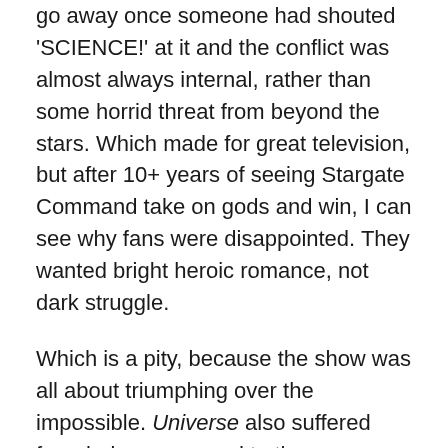go away once someone had shouted 'SCIENCE!' at it and the conflict was almost always internal, rather than some horrid threat from beyond the stars. Which made for great television, but after 10+ years of seeing Stargate Command take on gods and win, I can see why fans were disappointed. They wanted bright heroic romance, not dark struggle.
Which is a pity, because the show was all about triumphing over the impossible. Universe also suffered from being compared to the new Battlestar Galactica, which, despite stylistic similarities, it really was nothing like. It had arch-plots, an established setting, and was clearly designed to run for a long time, whereas Battlestar Galactica suffered from being a mini-series that went on too long.
So to sum up: Stargate Universe was really all of a...